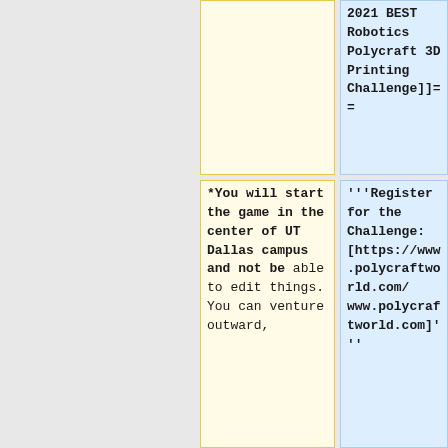2021 BEST Robotics Polycraft 3D Printing Challenge]==
*You will start the game in the center of UT Dallas campus and not be able to edit things. You can venture outward,
'''Register for the Challenge: [https://www.polycraftworld.com/ www.polycraftworld.com]'''